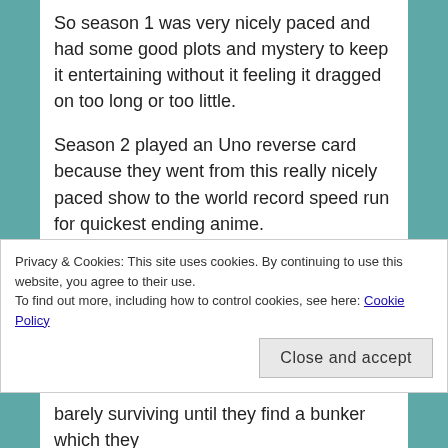So season 1 was very nicely paced and had some good plots and mystery to keep it entertaining without it feeling it dragged on too long or too little.
Season 2 played an Uno reverse card because they went from this really nicely paced show to the world record speed run for quickest ending anime.
So a lot of plot is crammed into 11 episodes here a lot of people do not like this season, I enjoyed it but it definitely felt rushed there are some important plots here and I will go over them briefly but If you want a real analysis why this is a bad anime season
Privacy & Cookies: This site uses cookies. By continuing to use this website, you agree to their use.
To find out more, including how to control cookies, see here: Cookie Policy
Close and accept
barely surviving until they find a bunker which they